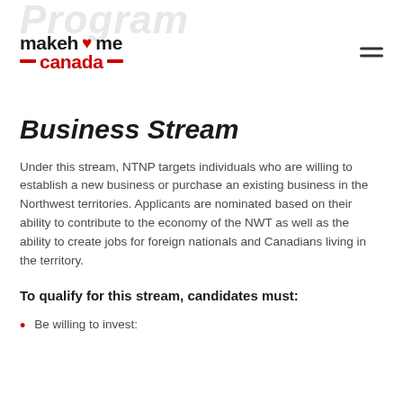makehome canada (logo)
Business Stream
Under this stream, NTNP targets individuals who are willing to establish a new business or purchase an existing business in the Northwest territories. Applicants are nominated based on their ability to contribute to the economy of the NWT as well as the ability to create jobs for foreign nationals and Canadians living in the territory.
To qualify for this stream, candidates must:
Be willing to invest: